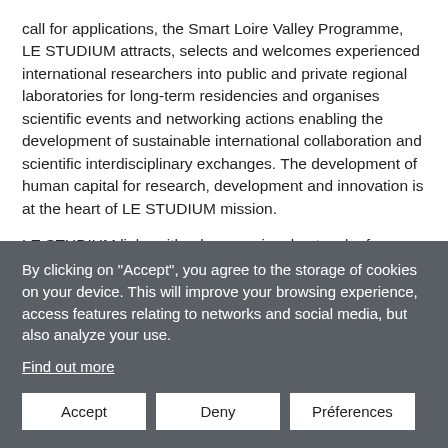call for applications, the Smart Loire Valley Programme, LE STUDIUM attracts, selects and welcomes experienced international researchers into public and private regional laboratories for long-term residencies and organises scientific events and networking actions enabling the development of sustainable international collaboration and scientific interdisciplinary exchanges. The development of human capital for research, development and innovation is at the heart of LE STUDIUM mission.

LE STUDIUM links with a large regional network of research stakeholders in the Centre-Val de Loire region:
By clicking on "Accept", you agree to the storage of cookies on your device. This will improve your browsing experience, access features relating to networks and social media, but also analyze your use.
Find out more
Accept    Deny    Préferences